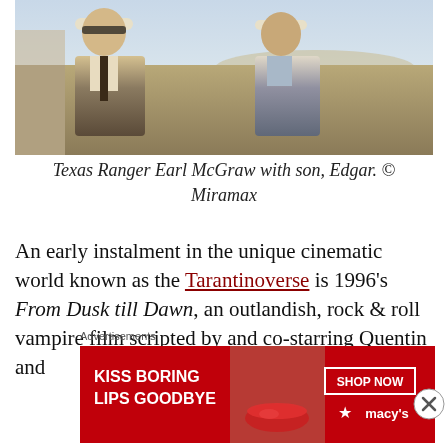[Figure (photo): Two men in cowboy hats standing outdoors in a desert setting. The man on the left wears a brown suit jacket and sunglasses; the man on the right wears a light blue denim shirt with a bolo tie.]
Texas Ranger Earl McGraw with son, Edgar. © Miramax
An early instalment in the unique cinematic world known as the Tarantinoverse is 1996's From Dusk till Dawn, an outlandish, rock & roll vampire film scripted by and co-starring Quentin and
Advertisements
[Figure (other): Advertisement banner: red background with woman's lips. Text reads 'KISS BORING LIPS GOODBYE' with 'SHOP NOW' button and Macy's logo with star.]